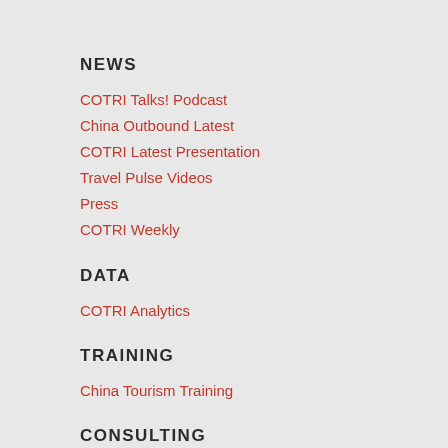NEWS
COTRI Talks! Podcast
China Outbound Latest
COTRI Latest Presentation
Travel Pulse Videos
Press
COTRI Weekly
DATA
COTRI Analytics
TRAINING
China Tourism Training
CONSULTING
ADVANTAGE: TOURISM